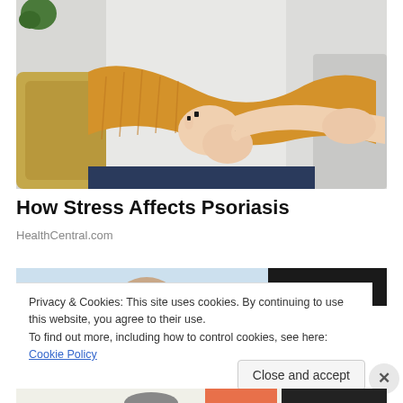[Figure (photo): Woman in yellow knit sweater sitting on couch, scratching or holding her arm/elbow area, representing psoriasis or skin condition]
How Stress Affects Psoriasis
HealthCentral.com
[Figure (photo): Partial view of a second image strip showing people, partially obscured by cookie banner]
Privacy & Cookies: This site uses cookies. By continuing to use this website, you agree to their use.
To find out more, including how to control cookies, see here: Cookie Policy
Close and accept